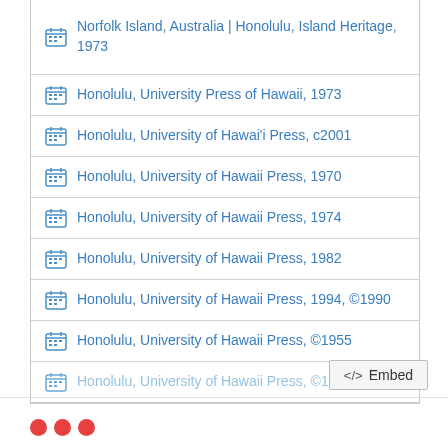Norfolk Island, Australia | Honolulu, Island Heritage, 1973
Honolulu, University Press of Hawaii, 1973
Honolulu, University of Hawai'i Press, c2001
Honolulu, University of Hawaii Press, 1970
Honolulu, University of Hawaii Press, 1974
Honolulu, University of Hawaii Press, 1982
Honolulu, University of Hawaii Press, 1994, ©1990
Honolulu, University of Hawaii Press, ©1955
Honolulu, University of Hawaii Press, ©1985